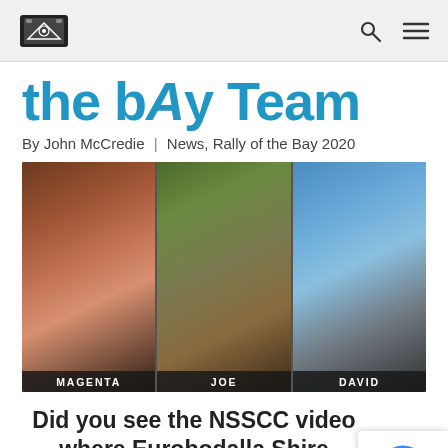the bAy Team — site logo and navigation icons
the bAy Team
By John McCredie  |  News, Rally of the Bay 2020
[Figure (photo): Composite photo of three people labeled MAGENTA, JOE, and DAVID against outdoor backgrounds]
Did you see the NSSCC video where Eurobodalla Shire Council Mayor Liz